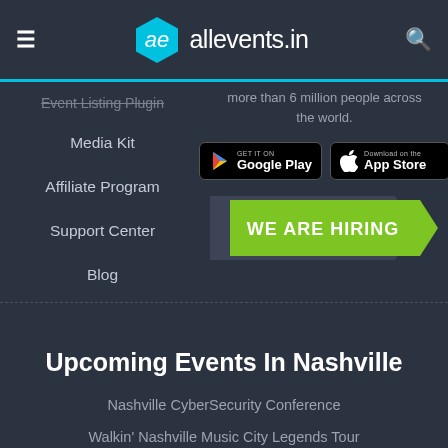allevents.in
Event Listing Plugin
more than 6 million people across the world.
Media Kit
[Figure (logo): Google Play store badge]
[Figure (logo): Apple App Store badge]
Affiliate Program
Support Center
[Figure (infographic): WE ARE HIRING green ribbon banner]
Blog
Upcoming Events In Nashville
Nashville CyberSecurity Conference
Walkin' Nashville Music City Legends Tour